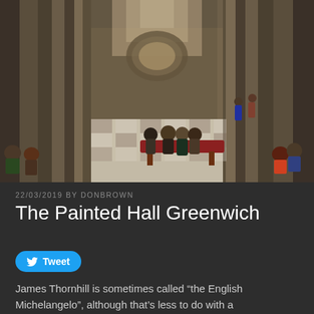[Figure (photo): Interior of the Painted Hall Greenwich showing grand columned hall with ornate patterned floor, visitors seated on red benches and walking around, tall columns and arched ceiling with natural light from above]
22/03/2019 BY DONBROWN
The Painted Hall Greenwich
Tweet
James Thornhill is sometimes called “the English Michelangelo”, although that’s less to do with a